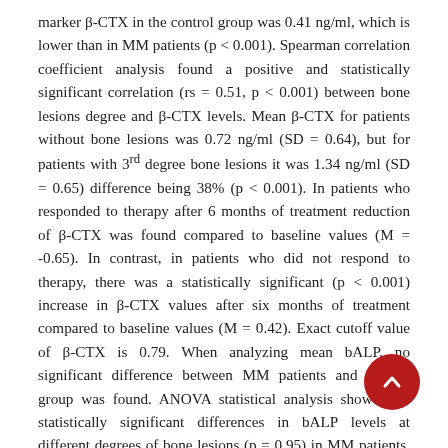marker β-CTX in the control group was 0.41 ng/ml, which is lower than in MM patients (p < 0.001). Spearman correlation coefficient analysis found a positive and statistically significant correlation (rs = 0.51, p < 0.001) between bone lesions degree and β-CTX levels. Mean β-CTX for patients without bone lesions was 0.72 ng/ml (SD = 0.64), but for patients with 3rd degree bone lesions it was 1.34 ng/ml (SD = 0.65) difference being 38% (p < 0.001). In patients who responded to therapy after 6 months of treatment reduction of β-CTX was found compared to baseline values (M = -0.65). In contrast, in patients who did not respond to therapy, there was a statistically significant (p < 0.001) increase in β-CTX values after six months of treatment compared to baseline values (M = 0.42). Exact cutoff value of β-CTX is 0.79. When analyzing mean bALP, no significant difference between MM patients and control group was found. ANOVA statistical analysis showed no statistically significant differences in bALP levels at different degrees of bone lesions (p = 0.95) in MM patients. Analysis of bALP suitability as MM diagnostic marker using receiver operating characteristics curve showed that bALP is not applicable for clinical diagnosis of MM (AUC 0.5, p > 0.05). However, β-CTX was found to be an excellent diagnostic marker for MM (AUC